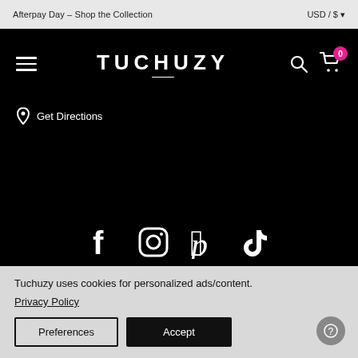Afterpay Day – Shop the Collection    USD / $
TUCHUZY
Get Directions
[Figure (illustration): Social media icons: Facebook, Instagram, Pinterest, TikTok]
TUCHUZY
Tuchuzy uses cookies for personalized ads/content.
Privacy Policy
Preferences   Accept